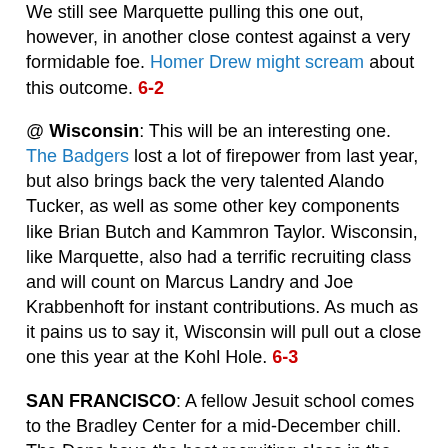We still see Marquette pulling this one out, however, in another close contest against a very formidable foe. Homer Drew might scream about this outcome. 6-2
@ Wisconsin: This will be an interesting one. The Badgers lost a lot of firepower from last year, but also brings back the very talented Alando Tucker, as well as some other key components like Brian Butch and Kammron Taylor. Wisconsin, like Marquette, also had a terrific recruiting class and will count on Marcus Landry and Joe Krabbenhoft for instant contributions. As much as it pains us to say it, Wisconsin will pull out a close one this year at the Kohl Hole. 6-3
SAN FRANCISCO: A fellow Jesuit school comes to the Bradley Center for a mid-December chill. The Dons have the best recruiting class in the WCC, but will go back to San Francisco with no flowers in their hair. Marquette wins. 7-3
OAKLAND: No, not the Oakland across the bay from San Francisco… the one in Michigan. The Grizzlies shocked everyone by winning their conference tournament last year and then beat the NCAA Tournament. Frankly, Marquette